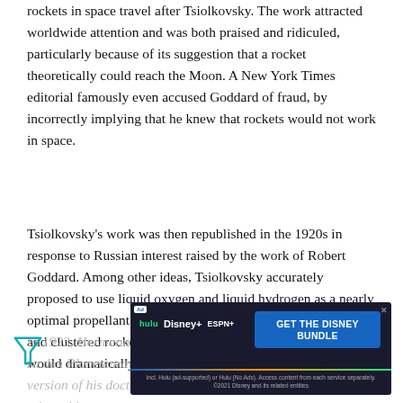rockets in space travel after Tsiolkovsky. The work attracted worldwide attention and was both praised and ridiculed, particularly because of its suggestion that a rocket theoretically could reach the Moon. A New York Times editorial famously even accused Goddard of fraud, by incorrectly implying that he knew that rockets would not work in space.
Tsiolkovsky's work was then republished in the 1920s in response to Russian interest raised by the work of Robert Goddard. Among other ideas, Tsiolkovsky accurately proposed to use liquid oxygen and liquid hydrogen as a nearly optimal propellant pair and determined that building staged and clustered rockets to increase the overall mass efficiency would dramatically increase range.
In 1923, Hermann Oberth (1894–1989) published Die Rakete zu den Planetenräumen ("By Rocket into Planetary Space"), a version of his doctoral thesis, after the University of Munich rejected it.
[Figure (screenshot): Disney Bundle advertisement banner showing Hulu, Disney+, and ESPN+ logos with 'GET THE DISNEY BUNDLE' call to action button and fine print text]